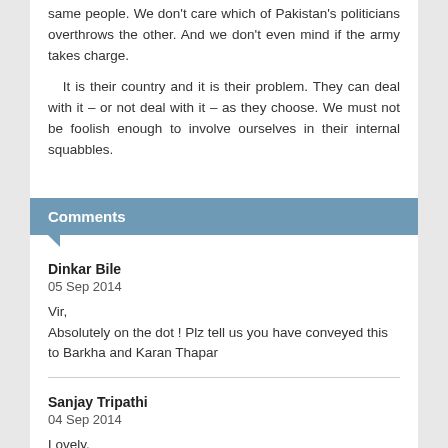same people. We don't care which of Pakistan's politicians overthrows the other. And we don't even mind if the army takes charge.
It is their country and it is their problem. They can deal with it – or not deal with it – as they choose. We must not be foolish enough to involve ourselves in their internal squabbles.
Comments
Dinkar Bile
05 Sep 2014
Vir,
Absolutely on the dot ! Plz tell us you have conveyed this to Barkha and Karan Thapar
Sanjay Tripathi
04 Sep 2014
Lovely.
Get tired of the dour-eyed misty sappy distribe that we see...